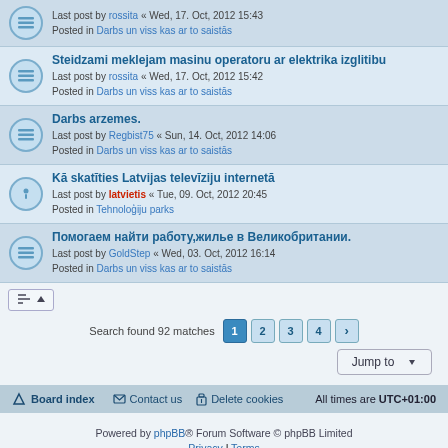Last post by rossita « Wed, 17. Oct, 2012 15:43
Posted in Darbs un viss kas ar to saistās
Steidzami meklejam masinu operatoru ar elektrika izglitibu
Last post by rossita « Wed, 17. Oct, 2012 15:42
Posted in Darbs un viss kas ar to saistās
Darbs arzemes.
Last post by Regbist75 « Sun, 14. Oct, 2012 14:06
Posted in Darbs un viss kas ar to saistās
Kā skatīties Latvijas televīziju internetā
Last post by latvietis « Tue, 09. Oct, 2012 20:45
Posted in Tehnoloģiju parks
Помогаем найти работу,жилье в Великобритании.
Last post by GoldStep « Wed, 03. Oct, 2012 16:14
Posted in Darbs un viss kas ar to saistās
Search found 92 matches  1 2 3 4 >
Jump to
Board index  Contact us  Delete cookies  All times are UTC+01:00
Powered by phpBB® Forum Software © phpBB Limited
Privacy | Terms